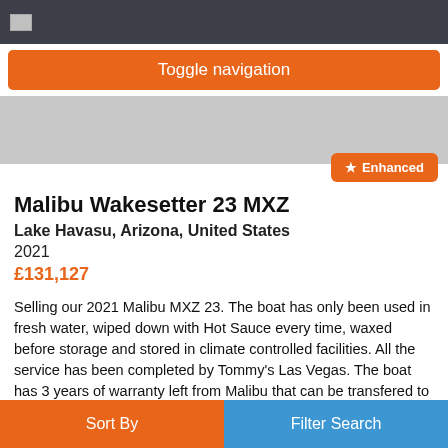Toggle navigation
[Figure (screenshot): Gray placeholder image area with an Enhanced badge in the bottom right corner]
Malibu Wakesetter 23 MXZ
Lake Havasu, Arizona, United States
2021
£131,127
Selling our 2021 Malibu MXZ 23. The boat has only been used in fresh water, wiped down with Hot Sauce every time, waxed before storage and stored in climate controlled facilities. All the service has been completed by Tommy's Las Vegas. The boat has 3 years of warranty left from Malibu that can be transfered to the new owner. Every upgrade option possible. The
Sort By   Filter Search